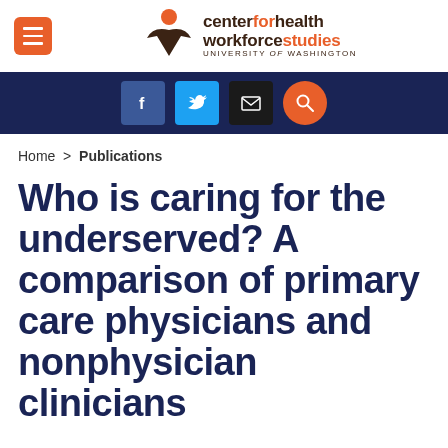[Figure (logo): Center for Health Workforce Studies, University of Washington logo with orange figure icon and hamburger menu button]
[Figure (infographic): Dark navy navigation bar with social media icons: Facebook (blue), Twitter (light blue), Email (black), Search (orange)]
Home > Publications
Who is caring for the underserved? A comparison of primary care physicians and nonphysician clinicians